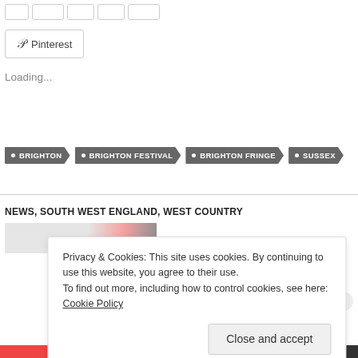[Figure (screenshot): Partial social share buttons row at top (truncated)]
Pinterest
Loading...
BRIGHTON
BRIGHTON FESTIVAL
BRIGHTON FRINGE
SUSSEX
NEWS, SOUTH WEST ENGLAND, WEST COUNTRY
Privacy & Cookies: This site uses cookies. By continuing to use this website, you agree to their use. To find out more, including how to control cookies, see here: Cookie Policy
Close and accept